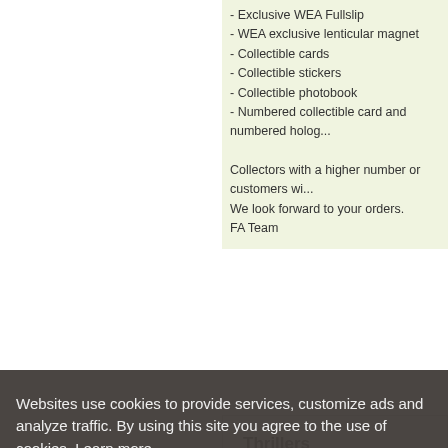- Exclusive WEA Fullslip
- WEA exclusive lenticular magnet
- Collectible cards
- Collectible stickers
- Collectible photobook
- Numbered collectible card and numbered holog...
Collectors with a higher number or customers wi...
We look forward to your orders.
FA Team
Thrillers
Popular categories:  4K movies  |  3D movies  |  Blu-ray movies  |  DVD movies  |
About Company
About contact
Websites use cookies to provide services, customize ads and analyze traffic. By using this site you agree to the use of cookies. Learn more.
I agree